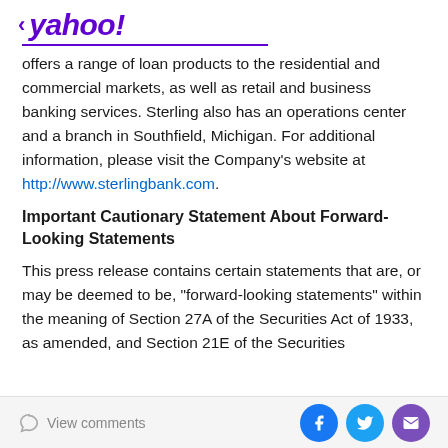< yahoo!
offers a range of loan products to the residential and commercial markets, as well as retail and business banking services. Sterling also has an operations center and a branch in Southfield, Michigan. For additional information, please visit the Company's website at http://www.sterlingbank.com.
Important Cautionary Statement About Forward-Looking Statements
This press release contains certain statements that are, or may be deemed to be, "forward-looking statements" within the meaning of Section 27A of the Securities Act of 1933, as amended, and Section 21E of the Securities
View comments